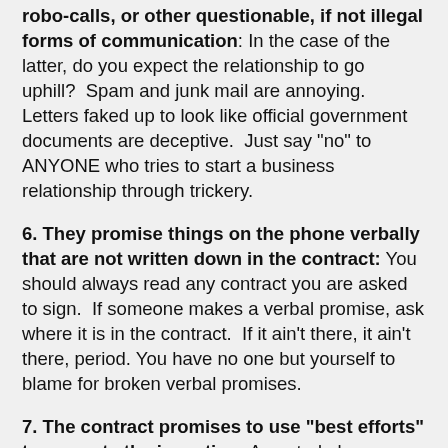robo-calls, or other questionable, if not illegal forms of communication: In the case of the latter, do you expect the relationship to go uphill?  Spam and junk mail are annoying. Letters faked up to look like official government documents are deceptive.  Just say "no" to ANYONE who tries to start a business relationship through trickery.
6. They promise things on the phone verbally that are not written down in the contract: You should always read any contract you are asked to sign.  If someone makes a verbal promise, ask where it is in the contract.  If it ain't there, it ain't there, period. You have no one but yourself to blame for broken verbal promises.
7. The contract promises to use "best efforts" to promote the invention: As noted above, such clauses are not really enforceable unless they use no efforts whatsoever.  Under the law, "best efforts" means nothing.  Getting out of bed in the morning could be considered "best efforts".  It is